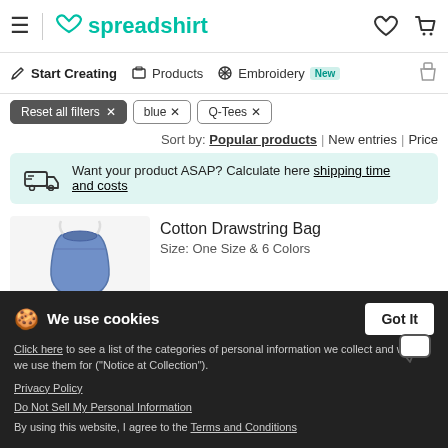≡ spreadshirt [heart icon] [cart icon]
✏ Start Creating | ▦ Products | ✼ Embroidery New | 🎁
Reset all filters ✕ | blue ✕ | Q-Tees ✕
Sort by: Popular products | New entries | Price
Want your product ASAP? Calculate here shipping time and costs
Cotton Drawstring Bag
Size: One Size & 6 Colors
From $8.99 per piece, excl. printing c...
We use cookies
Click here to see a list of the categories of personal information we collect and what we use them for ("Notice at Collection").
Privacy Policy
Do Not Sell My Personal Information
By using this website, I agree to the Terms and Conditions
Tote Bag